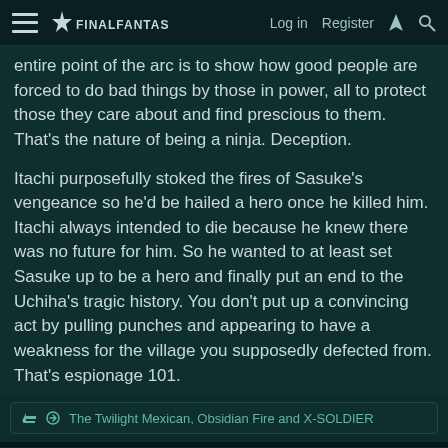Log in  Register
entire point of the arc is to show how good people are forced to do bad things by those in power, all to protect those they care about and find prescious to them. That's the nature of being a ninja. Deception.
Itachi purposefully stoked the fires of Sasuke's vengeance so he'd be hailed a hero once he killed him. Itachi always intended to die because he knew there was no future for him. So he wanted to at least set Sasuke up to be a hero and finally put an end to the Uchiha's tragic history. You don't put up a convincing act by pulling punches and appearing to have a weakness for the village you supposedly defected from. That's espionage 101.
The Twilight Mexican, Obsidian Fire and X-SOLDIER
Roundhouse
Pro Adventurer
Aug 2, 2021    #1,772